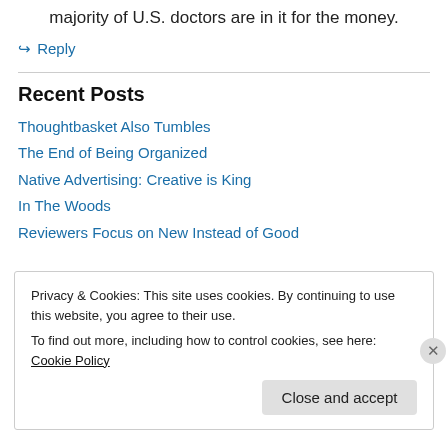majority of U.S. doctors are in it for the money.
↪ Reply
Recent Posts
Thoughtbasket Also Tumbles
The End of Being Organized
Native Advertising: Creative is King
In The Woods
Reviewers Focus on New Instead of Good
Privacy & Cookies: This site uses cookies. By continuing to use this website, you agree to their use.
To find out more, including how to control cookies, see here: Cookie Policy
Close and accept